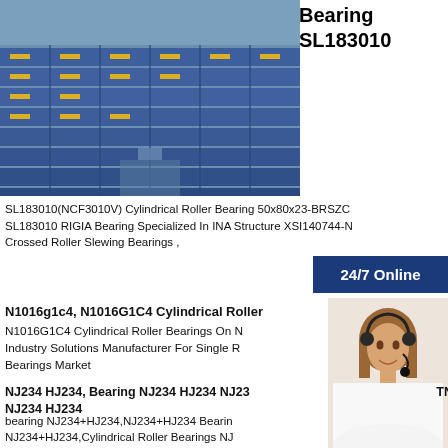[Figure (photo): Warehouse stacked with blue boxes/bearing packages]
Bearing SL183010
SL183010(NCF3010V) Cylindrical Roller Bearing 50x80x23-BRSZC
SL183010 RIGIA Bearing Specialized In INA Structure XSI140744-N
Crossed Roller Slewing Bearings ,
24/7 Online
N1016g1c4, N1016G1C4 Cylindrical Roller
N1016G1C4 Cylindrical Roller Bearings On N
Industry Solutions Manufacturer For Single R
Bearings Market
[Figure (photo): Woman with headset/customer service representative]
NJ234 HJ234, Bearing NJ234 HJ234 NJ234 TN NJ234 HJ234
bearing NJ234+HJ234,NJ234+HJ234 Bearin
NJ234+HJ234,Cylindrical Roller Bearings NJ
IDODthickness：170(mm)310(mm)52(mm),NT
Inquiry ,EMAIL:salesstore-bearings
Have any requests, click here.
Quotation
Nj414 Hj414, Bearing NJ414 HJ414 NJ414 HJ414 Bearings KOYO